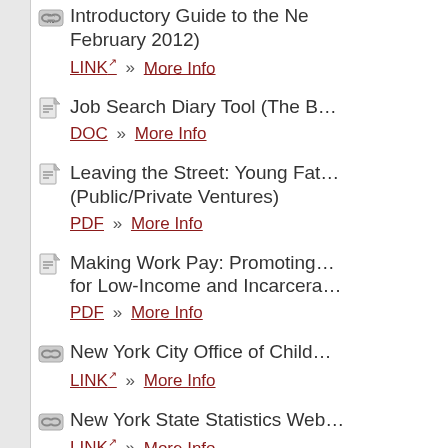Introductory Guide to the New… (February 2012) — LINK » More Info
Job Search Diary Tool (The B… — DOC » More Info
Leaving the Street: Young Fat… (Public/Private Ventures) — PDF » More Info
Making Work Pay: Promoting… for Low-Income and Incarcera… — PDF » More Info
New York City Office of Child… — LINK » More Info
New York State Statistics Web… — LINK » More Info
NY Family Court Form 4-11:… (NYS Office of Court Adminis… — PDF | WPD » More Info